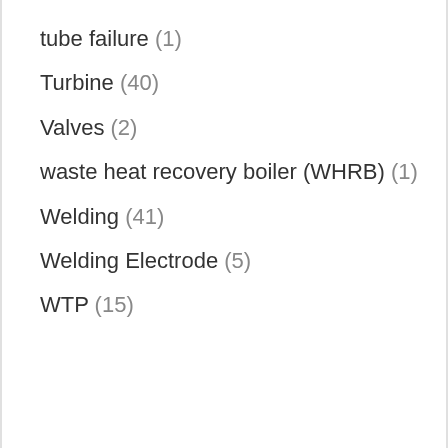tube failure (1)
Turbine (40)
Valves (2)
waste heat recovery boiler (WHRB) (1)
Welding (41)
Welding Electrode (5)
WTP (15)